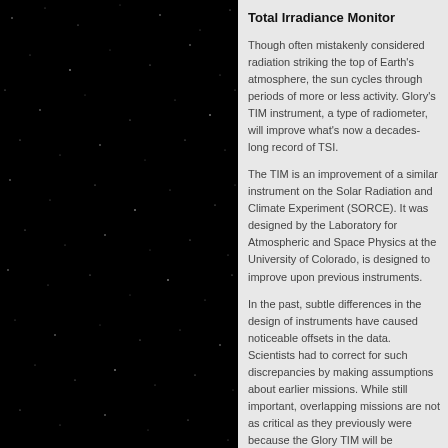[Figure (photo): Star field photograph — a dark black background with scattered small white star dots visible across the image]
Total Irradiance Monitor
Though often mistakenly considered radiation striking the top of Earth's atmosphere, the sun cycles through periods of more or less activity. Glory's TIM instrument, a type of radiometer, will improve what's now a decades-long record of TSI.
The TIM is an improvement of a similar instrument on the Solar Radiation and Climate Experiment (SORCE). It was designed by the Laboratory for Atmospheric and Space Physics at the University of Colorado, is designed to improve upon previous instruments.
In the past, subtle differences in the design of instruments have caused noticeable offsets in the data. Scientists had to correct for such discrepancies by making assumptions about earlier missions. While still important, overlapping missions are not as critical as they previously were because the Glory TIM will be calibrated at a ground-based facility at LASP called the TSI Radiometer Facility.
The TIM instrument contains four identical radiometers pointed at the sun during the daylight portion of each orbit. This redundancy allows mission controllers to aim it t